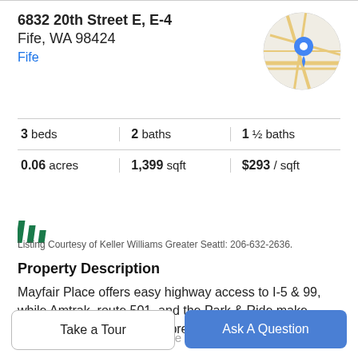6832 20th Street E, E-4
Fife, WA 98424
Fife
[Figure (map): Circular map thumbnail showing street map with blue location pin marker]
3 beds | 2 baths | 1 ½ baths
0.06 acres | 1,399 sqft | $293 / sqft
[Figure (logo): Keller Williams logo - three green diagonal stripes]
Listing Courtesy of Keller Williams Greater Seattl: 206-632-2636.
Property Description
Mayfair Place offers easy highway access to I-5 & 99, while Amtrak, route 501, and the Park & Ride make heading north and south a breeze. Enjoy a waterfront
dinner in Ruston or explore the LeMay or Tacoma Art
Take a Tour
Ask A Question